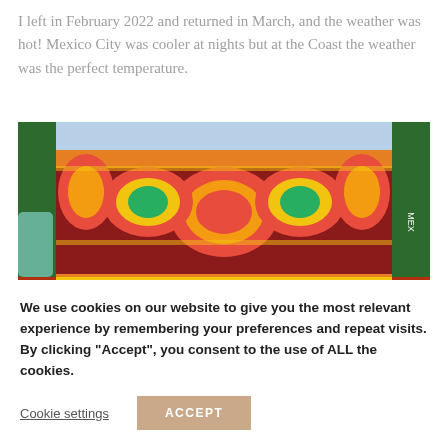I left in February 2022 and returned in March, and the weather was hot! Mexico City was cooler at nights but at the Coast the weather was the perfect temperature.
[Figure (photo): A colorful Mexican decorative sign/boat with vibrant red, orange, yellow, and green folk-art patterns and the word MEXICAN written across the bottom in large letters on a dark red background.]
We use cookies on our website to give you the most relevant experience by remembering your preferences and repeat visits. By clicking "Accept", you consent to the use of ALL the cookies.
Cookie settings
ACCEPT